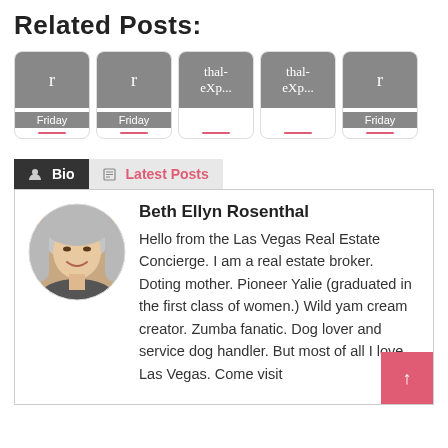Related Posts:
[Figure (other): Row of 5 thumbnail cards: two labeled 'r / Friday', two labeled 'thal- / eXp...', one labeled 'r / Friday'. Each card has a gray image area and a pink underline.]
Bio | Latest Posts
[Figure (photo): Circular profile photo of Beth Ellyn Rosenthal, a woman with short silver-white hair, smiling.]
Beth Ellyn Rosenthal
Hello from the Las Vegas Real Estate Concierge. I am a real estate broker. Doting mother. Pioneer Yalie (graduated in the first class of women.) Wild yam cream creator. Zumba fanatic. Dog lover and service dog handler. But most of all I love Las Vegas. Come visit